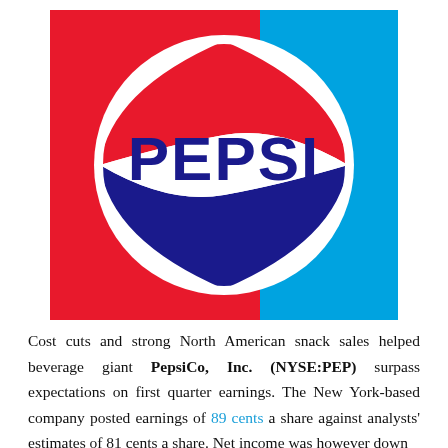[Figure (logo): Pepsi logo: red and blue background square with large white circle containing the Pepsi globe design (red top, white middle wave, blue bottom) and 'PEPSI' in bold dark blue letters across the center]
Cost cuts and strong North American snack sales helped beverage giant PepsiCo, Inc. (NYSE:PEP) surpass expectations on first quarter earnings. The New York-based company posted earnings of 89 cents a share against analysts' estimates of 81 cents a share. Net income was however down by 24% to $221 million from $1.08 billion a year but...